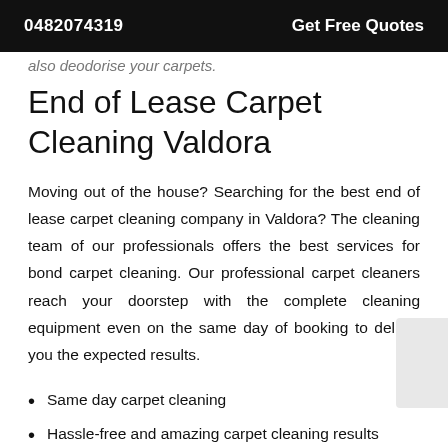0482074319    Get Free Quotes
also deodorise your carpets.
End of Lease Carpet Cleaning Valdora
Moving out of the house? Searching for the best end of lease carpet cleaning company in Valdora? The cleaning team of our professionals offers the best services for bond carpet cleaning. Our professional carpet cleaners reach your doorstep with the complete cleaning equipment even on the same day of booking to deliver you the expected results.
Same day carpet cleaning
Hassle-free and amazing carpet cleaning results
High-quality equipment and cleaning kits